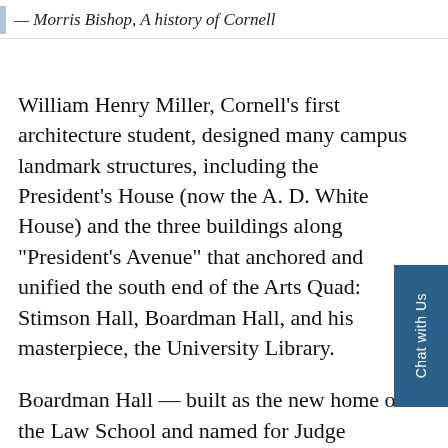— Morris Bishop, A history of Cornell
William Henry Miller, Cornell's first architecture student, designed many campus landmark structures, including the President's House (now the A. D. White House) and the three buildings along "President's Avenue" that anchored and unified the south end of the Arts Quad: Stimson Hall, Boardman Hall, and his masterpiece, the University Library.
Boardman Hall — built as the new home of the Law School and named for Judge Douglas Boardman, its first dean —